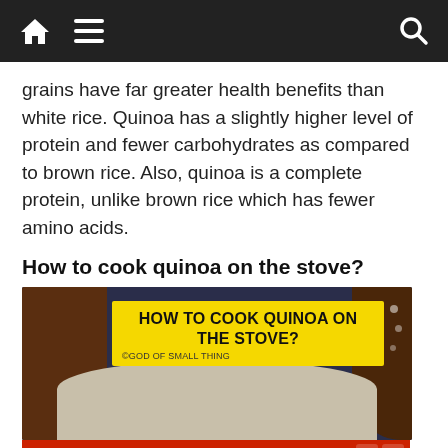[Navigation bar with home icon, menu icon, search icon]
grains have far greater health benefits than white rice. Quinoa has a slightly higher level of protein and fewer carbohydrates as compared to brown rice. Also, quinoa is a complete protein, unlike brown rice which has fewer amino acids.
How to cook quinoa on the stove?
[Figure (photo): Bowl of quinoa with yellow title overlay reading 'HOW TO COOK QUINOA ON THE STOVE?' with credit to ©GOD OF SMALL THING]
[Figure (other): Hotels.com advertisement banner with red background, Hotels.com logo and icon, and BOOK NOW button]